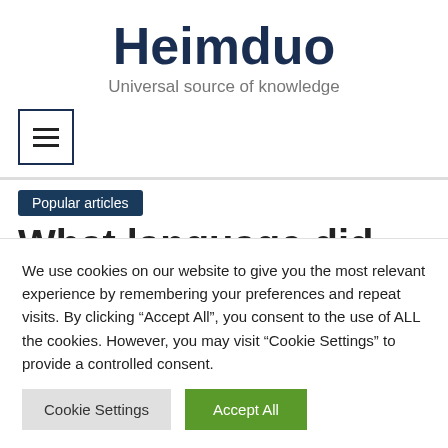Heimduo
Universal source of knowledge
[Figure (other): Hamburger menu button icon — three horizontal lines inside a square border]
Popular articles
What language did the
We use cookies on our website to give you the most relevant experience by remembering your preferences and repeat visits. By clicking “Accept All”, you consent to the use of ALL the cookies. However, you may visit "Cookie Settings" to provide a controlled consent.
Cookie Settings   Accept All